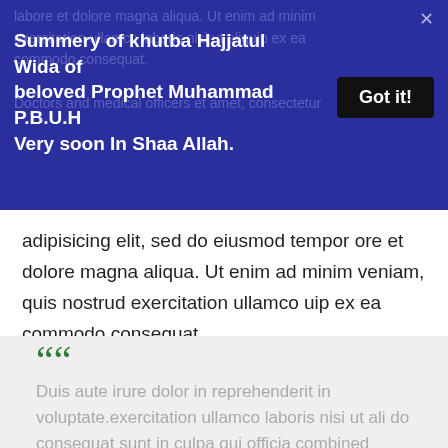[Figure (screenshot): Dark blue notification banner with title text, a close (X) button, and a 'Got it!' black button]
adipisicing elit, sed do eiusmod tempor ore et dolore magna aliqua. Ut enim ad minim veniam, quis nostrud exercitation ullamco uip ex ea commodo consequat.
““ Duis aute irure dolor in reprehenderit in voluptate.exercitation ullamco laboris nisi ut ali do consequat sunt in culpa qui officia combined sentence. ””